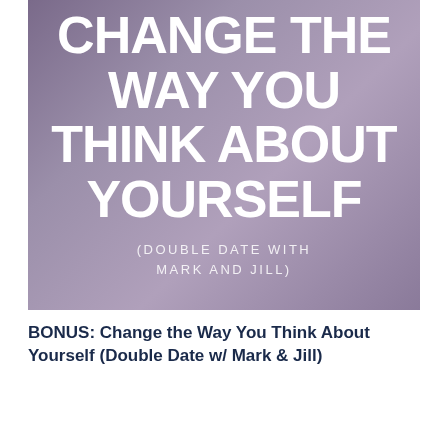[Figure (illustration): Book or podcast cover image with a purple-toned background showing two people embracing, overlaid with large white bold text reading 'CHANGE THE WAY YOU THINK ABOUT YOURSELF' and smaller spaced text '(DOUBLE DATE WITH MARK AND JILL)']
BONUS: Change the Way You Think About Yourself (Double Date w/ Mark & Jill)